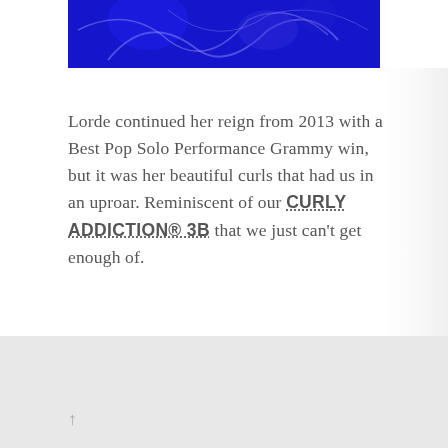[Figure (photo): Blue-toned image at the top of the page, partially visible, showing a blue background with faint white swirling or smoke-like details.]
Lorde continued her reign from 2013 with a Best Pop Solo Performance Grammy win, but it was her beautiful curls that had us in an uproar. Reminiscent of our CURLY ADDICTION® 3B that we just can't get enough of.
[Figure (photo): A broken image placeholder showing a small broken image icon on the left side within a rectangular border.]